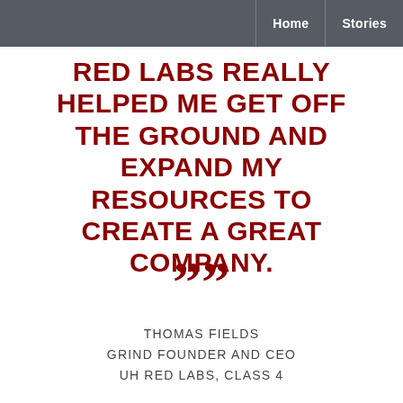Home | Stories
RED LABS REALLY HELPED ME GET OFF THE GROUND AND EXPAND MY RESOURCES TO CREATE A GREAT COMPANY.
””
THOMAS FIELDS
GRIND FOUNDER AND CEO
UH RED LABS, CLASS 4